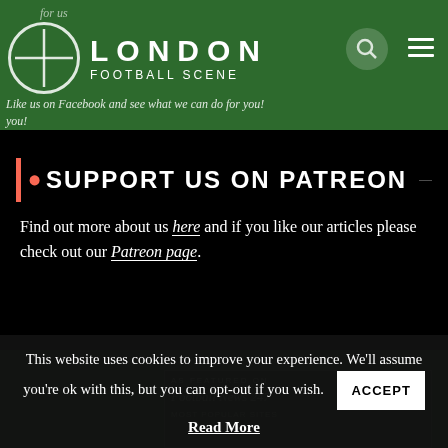London Football Scene
Like us on Facebook and see what we can do for you!
SUPPORT US ON PATREON
Find out more about us here and if you like our articles please check out our Patreon page.
AS FEATURED ON
This website uses cookies to improve your experience. We'll assume you're ok with this, but you can opt-out if you wish.
ACCEPT
Read More